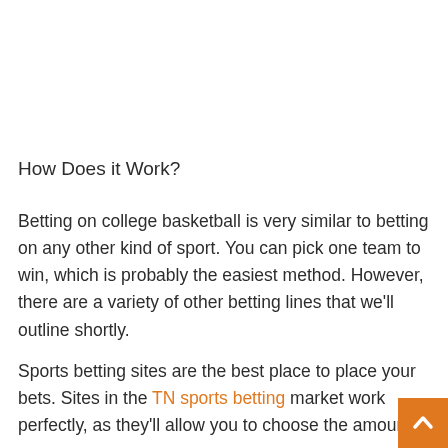How Does it Work?
Betting on college basketball is very similar to betting on any other kind of sport. You can pick one team to win, which is probably the easiest method. However, there are a variety of other betting lines that we'll outline shortly.
Sports betting sites are the best place to place your bets. Sites in the TN sports betting market work perfectly, as they'll allow you to choose the amount